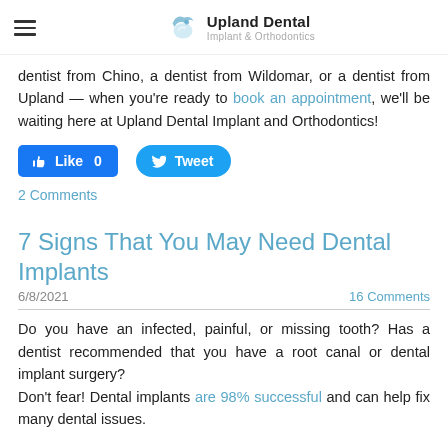Upland Dental Implant & Orthodontics
dentist from Chino, a dentist from Wildomar, or a dentist from Upland — when you're ready to book an appointment, we'll be waiting here at Upland Dental Implant and Orthodontics!
[Figure (other): Facebook Like button (Like 0) and Twitter Tweet button]
2 Comments
7 Signs That You May Need Dental Implants
6/8/2021
16 Comments
Do you have an infected, painful, or missing tooth? Has a dentist recommended that you have a root canal or dental implant surgery?
Don't fear! Dental implants are 98% successful and can help fix many dental issues.